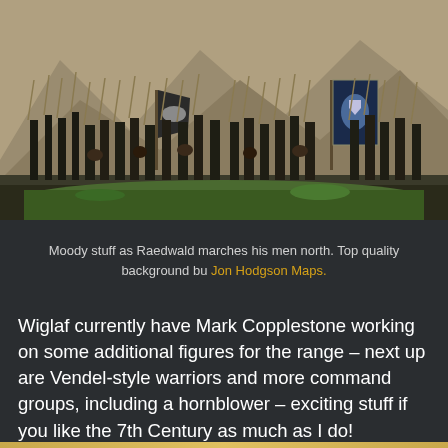[Figure (photo): Miniature wargaming figures of medieval/Dark Ages warriors marching in formation, carrying spears and shields, with two heraldic banners raised. Set against a painted mountainous landscape background. Detailed painted miniatures on green terrain bases.]
Moody stuff as Raedwald marches his men north. Top quality background bu Jon Hodgson Maps.
Wiglaf currently have Mark Copplestone working on some additional figures for the range – next up are Vendel-style warriors and more command groups, including a hornblower – exciting stuff if you like the 7th Century as much as I do!